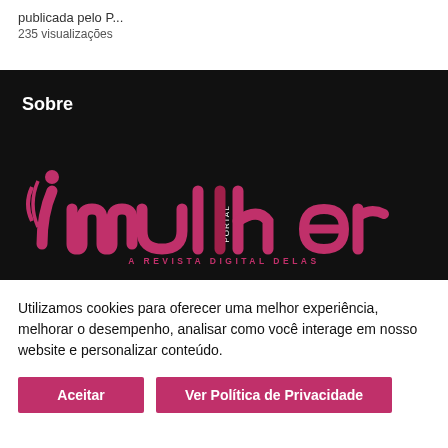publicada pelo P...
235 visualizações
Sobre
[Figure (logo): iMulher Portal logo — pink/magenta stylized text 'imulher' with the word 'PORTAL' vertical between letters, on black background. Subtitle: A REVISTA DIGITAL DELAS]
Utilizamos cookies para oferecer uma melhor experiência, melhorar o desempenho, analisar como você interage em nosso website e personalizar conteúdo.
Aceitar
Ver Política de Privacidade